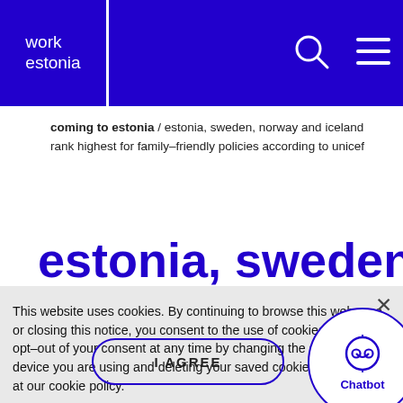work estonia
coming to estonia / estonia, sweden, norway and iceland rank highest for family–friendly policies according to unicef
estonia, sweden
This website uses cookies. By continuing to browse this webpage or closing this notice, you consent to the use of cookies. You may opt–out of your consent at any time by changing the settings of the device you are using and deleting your saved cookies. Have a look at our cookie policy.
I AGREE
Chatbot